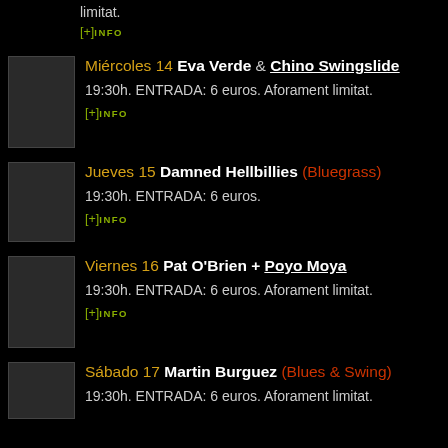limitat.
[+]INFO
Miércoles 14 Eva Verde & Chino Swingslide
19:30h. ENTRADA: 6 euros. Aforament limitat.
[+]INFO
Jueves 15 Damned Hellbillies (Bluegrass)
19:30h. ENTRADA: 6 euros.
[+]INFO
Viernes 16 Pat O'Brien + Poyo Moya
19:30h. ENTRADA: 6 euros. Aforament limitat.
[+]INFO
Sábado 17 Martin Burguez (Blues & Swing)
19:30h. ENTRADA: 6 euros. Aforament limitat.